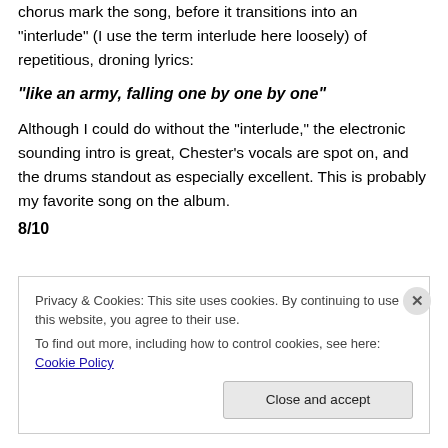chorus mark the song, before it transitions into an “interlude” (I use the term interlude here loosely) of repetitious, droning lyrics:
“like an army, falling one by one by one”
Although I could do without the “interlude,” the electronic sounding intro is great, Chester’s vocals are spot on, and the drums standout as especially excellent. This is probably my favorite song on the album.
8/10
Privacy & Cookies: This site uses cookies. By continuing to use this website, you agree to their use.
To find out more, including how to control cookies, see here: Cookie Policy